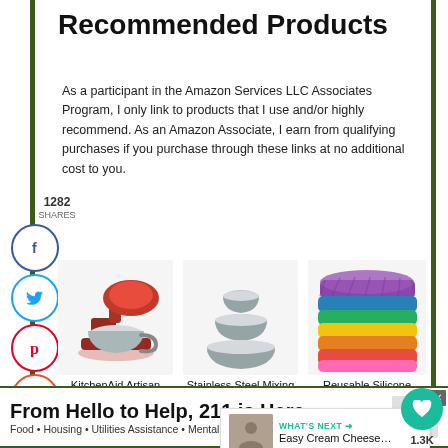Recommended Products
As a participant in the Amazon Services LLC Associates Program, I only link to products that I use and/or highly recommend. As an Amazon Associate, I earn from qualifying purchases if you purchase through these links at no additional cost to you.
[Figure (photo): KitchenAid Artisan Stand Mixer (red)]
KitchenAid Artisan Stand Mixer
[Figure (photo): Stainless Steel Mixing Bowls set of 3]
Stainless Steel Mixing Bowls
[Figure (photo): Reusable Silicone Baking Cups in rainbow colors]
Reusable Silicone Baking Cups
[Figure (photo): Dark muffin/cupcake baking pan]
WHAT'S NEXT → Easy Cream Cheese…
From Hello to Help, 211 is Here
Food • Housing • Utilities Assistance • Mental Health